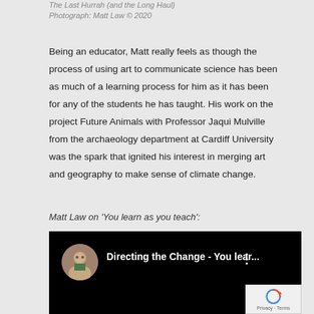The Last Hurrah (and the Long Haul)
Photograph: Matt Law © 2020
Being an educator, Matt really feels as though the process of using art to communicate science has been as much of a learning process for him as it has been for any of the students he has taught. His work on the project Future Animals with Professor Jaqui Mulville from the archaeology department at Cardiff University was the spark that ignited his interest in merging art and geography to make sense of climate change.
Matt Law on 'You learn as you teach':
[Figure (screenshot): YouTube video thumbnail showing 'Directing the Change - You lear...' with a circular avatar of a woman with glasses, on a black background. A reCAPTCHA box with Privacy and Terms text appears in the bottom right corner.]